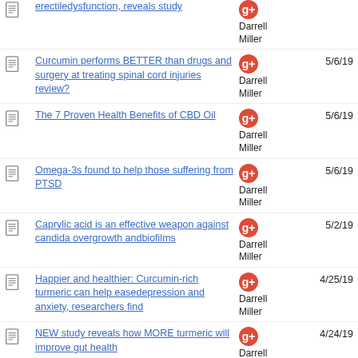erectiledysfunction, reveals study — Darrell Miller — 5/6/19 (partial, top cut off)
Curcumin performs BETTER than drugs and surgery at treating spinal cord injuries review? — Darrell Miller — 5/6/19
The 7 Proven Health Benefits of CBD Oil — Darrell Miller — 5/6/19
Omega-3s found to help those suffering from PTSD — Darrell Miller — 5/6/19
Caprylic acid is an effective weapon against candida overgrowth andbiofilms — Darrell Miller — 5/2/19
Happier and healthier: Curcumin-rich turmeric can help easedepression and anxiety, researchers find — Darrell Miller — 4/25/19
NEW study reveals how MORE turmeric will improve gut health — Darrell Miller — 4/24/19
How effective is CBD really? — Darrell Miller — 4/24/19 (partial, bottom cut off)